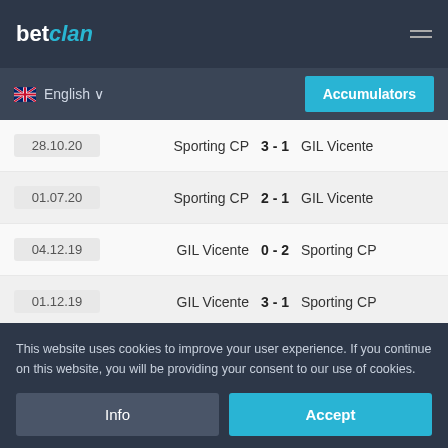betclan
English  Accumulators
| Date | Home | Score | Away |
| --- | --- | --- | --- |
| 28.10.20 | Sporting CP | 3 - 1 | GIL Vicente |
| 01.07.20 | Sporting CP | 2 - 1 | GIL Vicente |
| 04.12.19 | GIL Vicente | 0 - 2 | Sporting CP |
| 01.12.19 | GIL Vicente | 3 - 1 | Sporting CP |
| 22.02.15 | Sporting CP | 2 - 0 | GIL Vicente |
| 21.09.14 | GIL Vicente | 0 - 4 | Sporting CP |
This website uses cookies to improve your user experience. If you continue on this website, you will be providing your consent to our use of cookies.